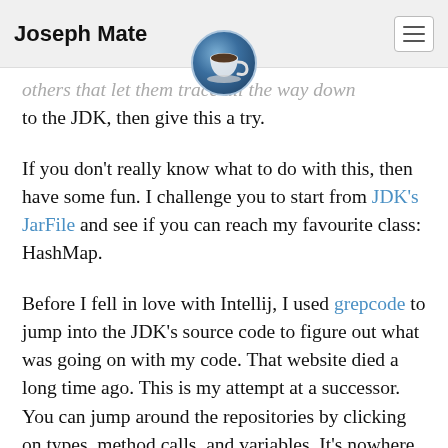Joseph Mate
[Figure (logo): Coffee cup logo icon, circular dark blue metallic background with a white coffee cup graphic in the center]
others that let them trace all the way down to the JDK, then give this a try.
If you don't really know what to do with this, then have some fun. I challenge you to start from JDK's JarFile and see if you can reach my favourite class: HashMap.
Before I fell in love with Intellij, I used grepcode to jump into the JDK's source code to figure out what was going on with my code. That website died a long time ago. This is my attempt at a successor. You can jump around the repositories by clicking on types, method calls, and variables. It's nowhere near Intellij or